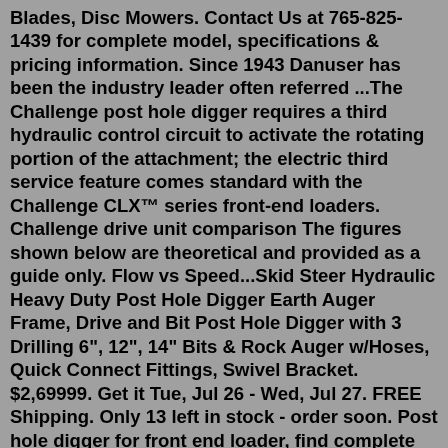Blades, Disc Mowers. Contact Us at 765-825-1439 for complete model, specifications & pricing information. Since 1943 Danuser has been the industry leader often referred ...The Challenge post hole digger requires a third hydraulic control circuit to activate the rotating portion of the attachment; the electric third service feature comes standard with the Challenge CLX™ series front-end loaders. Challenge drive unit comparison The figures shown below are theoretical and provided as a guide only. Flow vs Speed...Skid Steer Hydraulic Heavy Duty Post Hole Digger Earth Auger Frame, Drive and Bit Post Hole Digger with 3 Drilling 6", 12", 14" Bits & Rock Auger w/Hoses, Quick Connect Fittings, Swivel Bracket. $2,69999. Get it Tue, Jul 26 - Wed, Jul 27. FREE Shipping. Only 13 left in stock - order soon. Post hole digger for front end loader, find complete details about Post hole digger for front end loader, post hole digger, front end loader, lovol tractor - Weifang Fistter Machinery Co.,Ltd Berends manufacture a wide range of three point disc mowers and front end blade, post rotate dental...